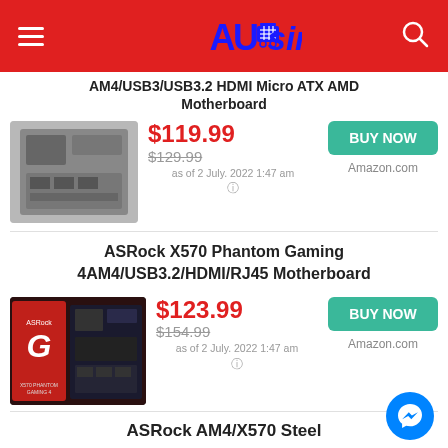AUsim
AM4/USB3/USB3.2 HDMI Micro ATX AMD Motherboard
[Figure (photo): Motherboard product photo (black PCB, grey tones)]
$119.99
$129.99
as of 2 July. 2022 1:47 am
BUY NOW
Amazon.com
ASRock X570 Phantom Gaming 4AM4/USB3.2/HDMI/RJ45 Motherboard
[Figure (photo): ASRock X570 Phantom Gaming 4 motherboard box and PCB, black and red design]
$123.99
$154.99
as of 2 July. 2022 1:47 am
BUY NOW
Amazon.com
ASRock AM4/X570 Steel